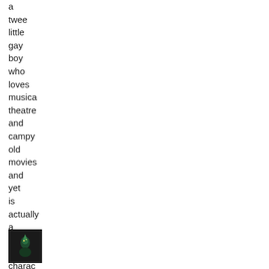a
twee
little
gay
boy
who
loves
musical
theatre
and
campy
old
movies
and
yet
is
actually
a
fully-
developed
character
[Figure (photo): Small thumbnail image with dark background, appears to show a figure or character]